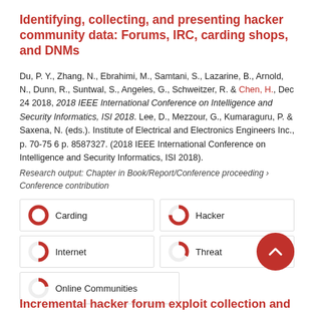Identifying, collecting, and presenting hacker community data: Forums, IRC, carding shops, and DNMs
Du, P. Y., Zhang, N., Ebrahimi, M., Samtani, S., Lazarine, B., Arnold, N., Dunn, R., Suntwal, S., Angeles, G., Schweitzer, R. & Chen, H., Dec 24 2018, 2018 IEEE International Conference on Intelligence and Security Informatics, ISI 2018. Lee, D., Mezzour, G., Kumaraguru, P. & Saxena, N. (eds.). Institute of Electrical and Electronics Engineers Inc., p. 70-75 6 p. 8587327. (2018 IEEE International Conference on Intelligence and Security Informatics, ISI 2018).
Research output: Chapter in Book/Report/Conference proceeding › Conference contribution
[Figure (infographic): Four keyword badges with donut-style percentage rings: Carding (100%), Hacker (75%), Internet (50%), Threat (33%), Online Communities (22%)]
Incremental hacker forum exploit collection and